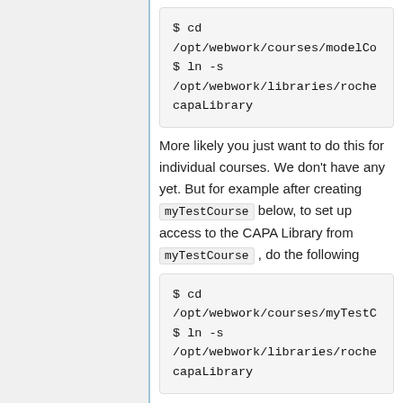$ cd /opt/webwork/courses/modelCo
$ ln -s /opt/webwork/libraries/roche
capaLibrary
More likely you just want to do this for individual courses. We don't have any yet. But for example after creating myTestCourse below, to set up access to the CAPA Library from myTestCourse , do the following
$ cd /opt/webwork/courses/myTestC
$ ln -s /opt/webwork/libraries/roche
capaLibrary